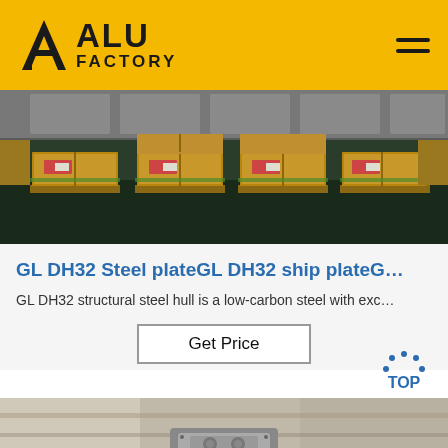ALU FACTORY
[Figure (photo): Warehouse interior showing stacks of packaged steel plates on wooden pallets, arranged in rows on a dark floor]
GL DH32 Steel plateGL DH32 ship plateG…
GL DH32 structural steel hull is a low-carbon steel with exc…
Get Price
[Figure (photo): Close-up of metal machinery or industrial equipment, grey metallic surfaces]